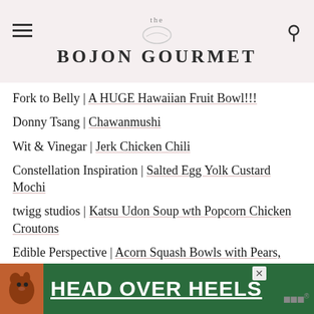the BOJON GOURMET
Fork to Belly | A HUGE Hawaiian Fruit Bowl!!!
Donny Tsang | Chawanmushi
Wit & Vinegar | Jerk Chicken Chili
Constellation Inspiration | Salted Egg Yolk Custard Mochi
twigg studios | Katsu Udon Soup wth Popcorn Chicken Croutons
Edible Perspective | Acorn Squash Bowls with Pears, Pecans, and Vanilla Bean Cream
Coco Cake Land | Asian Bowl Cut Sugar
[Figure (other): Advertisement banner: dog image on left, green background with text HEAD OVER HEELS in white underlined bold font, close button X, and logo on right]